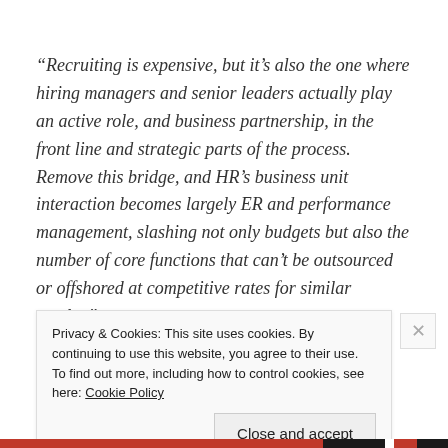“Recruiting is expensive, but it’s also the one where hiring managers and senior leaders actually play an active role, and business partnership, in the front line and strategic parts of the process.  Remove this bridge, and HR’s business unit interaction becomes largely ER and performance management, slashing not only budgets but also the number of core functions that can’t be outsourced or offshored at competitive rates for similar results.”
Privacy & Cookies: This site uses cookies. By continuing to use this website, you agree to their use.
To find out more, including how to control cookies, see here: Cookie Policy
Close and accept